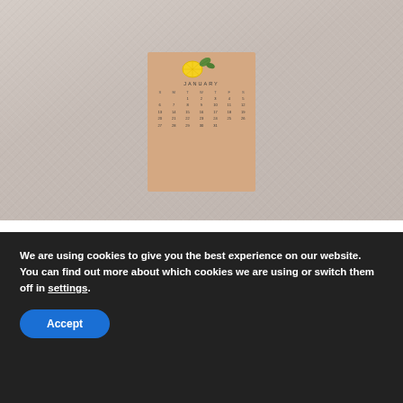[Figure (photo): A photo of a beige/tan calendar card with a January calendar grid and lemon/floral decoration at the top, placed on a light textured white fabric background.]
Well, here we are, welcoming another year and another month today.  I am so grateful to see another year and am looking forward to taking the opportunity to better myself, this space, and focusing on positivity and the impact that can
We are using cookies to give you the best experience on our website.
You can find out more about which cookies we are using or switch them off in settings.
Accept